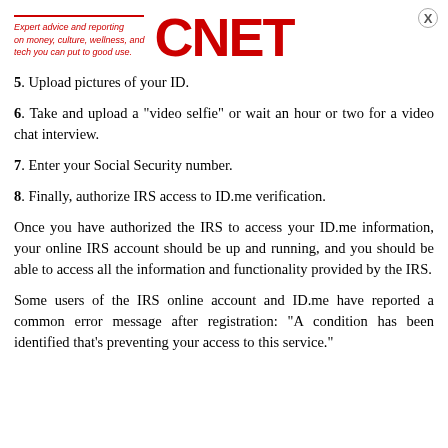Expert advice and reporting on money, culture, wellness, and tech you can put to good use. CNET
5. Upload pictures of your ID.
6. Take and upload a "video selfie" or wait an hour or two for a video chat interview.
7. Enter your Social Security number.
8. Finally, authorize IRS access to ID.me verification.
Once you have authorized the IRS to access your ID.me information, your online IRS account should be up and running, and you should be able to access all the information and functionality provided by the IRS.
Some users of the IRS online account and ID.me have reported a common error message after registration: "A condition has been identified that's preventing your access to this service."